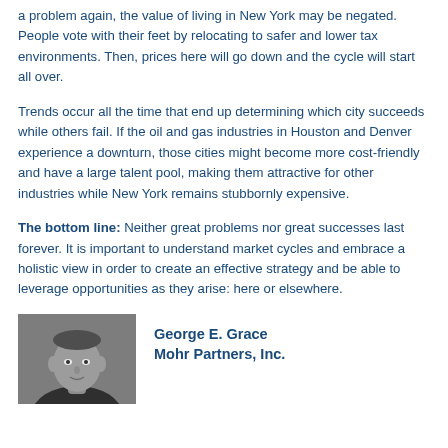a problem again, the value of living in New York may be negated. People vote with their feet by relocating to safer and lower tax environments. Then, prices here will go down and the cycle will start all over.
Trends occur all the time that end up determining which city succeeds while others fail. If the oil and gas industries in Houston and Denver experience a downturn, those cities might become more cost-friendly and have a large talent pool, making them attractive for other industries while New York remains stubbornly expensive.
The bottom line: Neither great problems nor great successes last forever. It is important to understand market cycles and embrace a holistic view in order to create an effective strategy and be able to leverage opportunities as they arise: here or elsewhere.
[Figure (photo): Black and white portrait photo of George E. Grace]
George E. Grace
Mohr Partners, Inc.